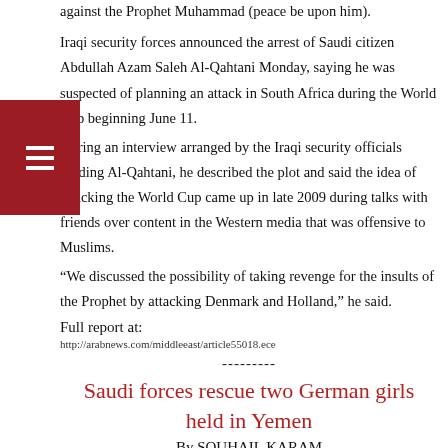against the Prophet Muhammad (peace be upon him).
Iraqi security forces announced the arrest of Saudi citizen Abdullah Azam Saleh Al-Qahtani Monday, saying he was suspected of planning an attack in South Africa during the World Cup beginning June 11.
During an interview arranged by the Iraqi security officials holding Al-Qahtani, he described the plot and said the idea of attacking the World Cup came up in late 2009 during talks with friends over content in the Western media that was offensive to Muslims.
"We discussed the possibility of taking revenge for the insults of the Prophet by attacking Denmark and Holland," he said.
Full report at:
http://arabnews.com/middleeast/article55018.ece
---------
Saudi forces rescue two German girls held in Yemen
By SOUHAIL KARAM